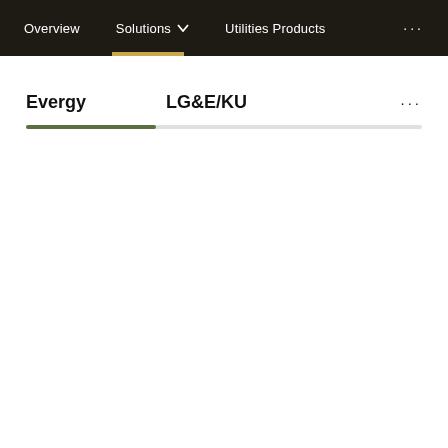Overview  Solutions  Utilities Products  ...
Evergy   LG&E/KU   ...